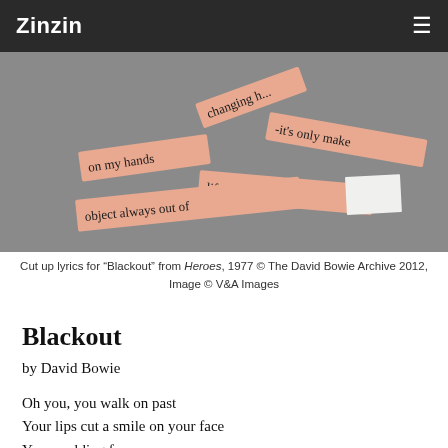Zinzin
[Figure (photo): Cut up paper lyric slips arranged on a grey background, showing handwritten fragments: 'changing h...', 'on my hands', 'it’s only make', 'life stands so still', 'object always out of']
Cut up lyrics for “Blackout” from Heroes, 1977 © The David Bowie Archive 2012, Image © V&A Images
Blackout
by David Bowie
Oh you, you walk on past
Your lips cut a smile on your face
Your scalding face
To the cage, to the cage